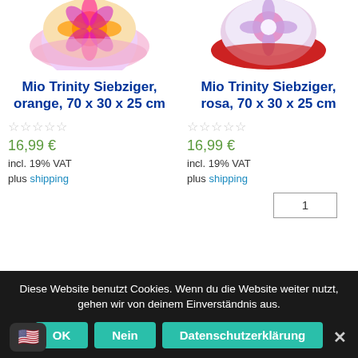[Figure (photo): Decorative pillow/cushion with orange geometric pattern on left side]
[Figure (photo): Decorative pillow/cushion with pink/blue floral pattern on right side]
Mio Trinity Siebziger, orange, 70 x 30 x 25 cm
Mio Trinity Siebziger, rosa, 70 x 30 x 25 cm
16,99 €
16,99 €
incl. 19% VAT
incl. 19% VAT
plus shipping
plus shipping
1
Diese Website benutzt Cookies. Wenn du die Website weiter nutzt, gehen wir von deinem Einverständnis aus.
OK
Nein
Datenschutzerklärung